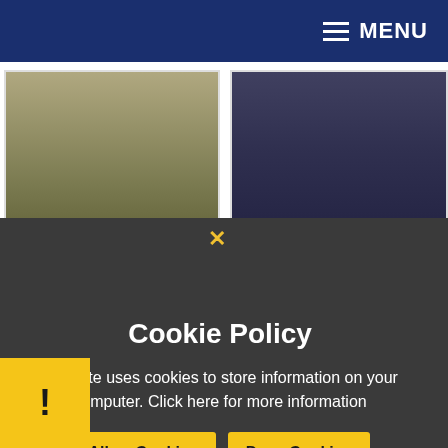MENU
[Figure (photo): Two-column, two-row photo grid showing: top-left: horses in a field, top-right: group of smiling people in dark jackets, bottom-left: red object outdoors, bottom-right: adults and children walking outdoors near a building with trees]
Cookie Policy
This site uses cookies to store information on your computer. Click here for more information
Allow Cookies   Deny Cookies